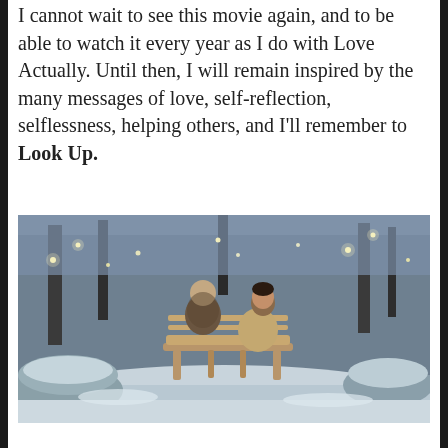I cannot wait to see this movie again, and to be able to watch it every year as I do with Love Actually. Until then, I will remain inspired by the many messages of love, self-reflection, selflessness, helping others, and I'll remember to Look Up.
[Figure (photo): A movie still showing two people sitting on a wooden park bench in a snow-covered winter garden with fairy lights in the trees. One person appears to be an older woman in a fur coat, the other a younger man in a beige jacket kneeling beside her. The scene is from the film referenced in the text.]